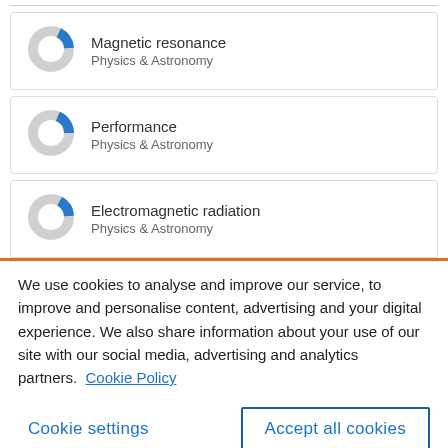[Figure (donut-chart): Partial donut/ring chart showing a small blue segment on a grey ring, representing Magnetic resonance in Physics & Astronomy]
Magnetic resonance
Physics & Astronomy
[Figure (donut-chart): Partial donut/ring chart showing a small blue segment on a grey ring, representing Performance in Physics & Astronomy]
Performance
Physics & Astronomy
[Figure (donut-chart): Partial donut/ring chart showing a small blue segment on a grey ring, representing Electromagnetic radiation in Physics & Astronomy]
Electromagnetic radiation
Physics & Astronomy
We use cookies to analyse and improve our service, to improve and personalise content, advertising and your digital experience. We also share information about your use of our site with our social media, advertising and analytics partners.  Cookie Policy
Cookie settings
Accept all cookies